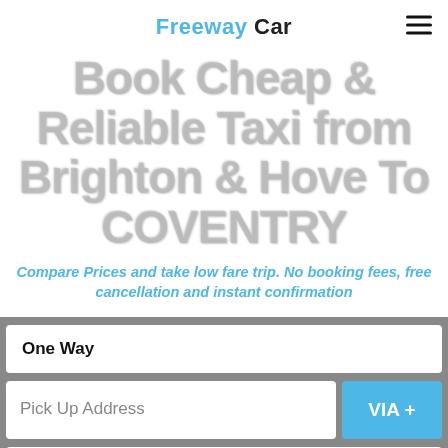Freeway Car
Book Cheap & Reliable Taxi from Brighton & Hove To COVENTRY
Compare Prices and take low fare trip. No booking fees, free cancellation and instant confirmation
One Way
Pick Up Address
VIA +
Drop Off Address